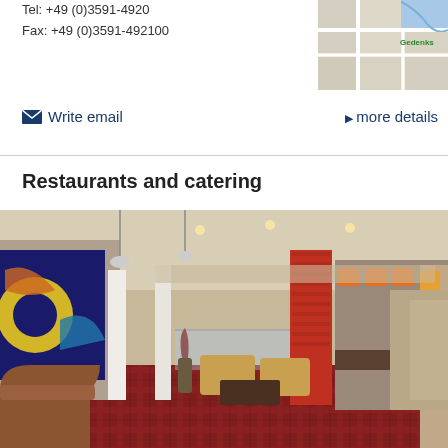Tel: +49 (0)3591-4920
Fax: +49 (0)3591-492100
[Figure (map): Small map thumbnail showing local area with 'Gedenks' label visible]
Write email
more details
Restaurants and catering
[Figure (photo): Interior photo of a hotel lobby/restaurant area with leather chairs, red patterned carpet, red brick column, bar area in background, warm lighting, and colorful artwork on the left wall]